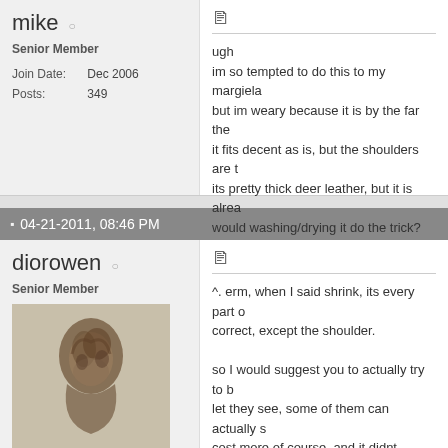mike ○
Senior Member
Join Date: Dec 2006
Posts: 349
ugh
im so tempted to do this to my margiela but im weary because it is by the far the it fits decent as is, but the shoulders are its pretty thick deer leather, but it is alrea would washing/drying it do the trick?
04-21-2011, 08:46 PM
diorowen ○
Senior Member
[Figure (photo): Avatar image of a sculpted or artistic figure, brown/sepia toned]
Join Date: Aug 2010
Location: Melbourne-Hellbourne
^. erm, when I said shrink, its every part correct, except the shoulder.

so I would suggest you to actually try to b let they see, some of them can actually s cost more of course, and it didnt guarant change the jacket silhouette.
but, just ask them. they may know what y